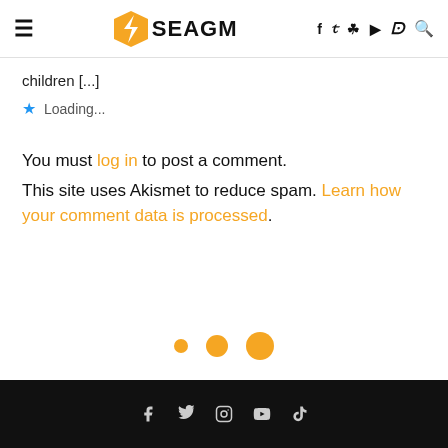SEAGM — navigation header with hamburger menu, logo, social icons
children [...]
Loading...
You must log in to post a comment.
This site uses Akismet to reduce spam. Learn how your comment data is processed.
[Figure (other): Three orange loading dots of increasing size]
Footer with social media icons: Facebook, Twitter, Instagram, YouTube, TikTok